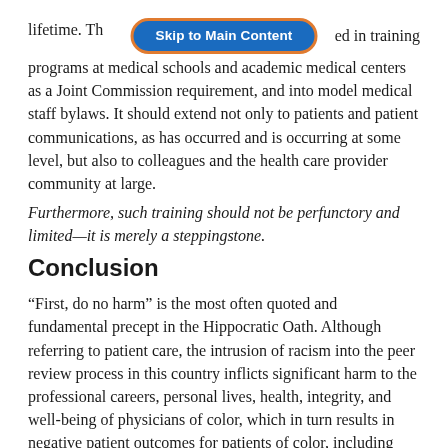[Figure (screenshot): Skip to Main Content button overlay — blue rounded rectangle with orange border, white text reading 'Skip to Main Content']
lifetime. The [skip button] ed in training programs at medical schools and academic medical centers as a Joint Commission requirement, and into model medical staff bylaws. It should extend not only to patients and patient communications, as has occurred and is occurring at some level, but also to colleagues and the health care provider community at large. Furthermore, such training should not be perfunctory and limited—it is merely a steppingstone.
Conclusion
“First, do no harm” is the most often quoted and fundamental precept in the Hippocratic Oath. Although referring to patient care, the intrusion of racism into the peer review process in this country inflicts significant harm to the professional careers, personal lives, health, integrity, and well-being of physicians of color, which in turn results in negative patient outcomes for patients of color, including premature deaths—the ultimate patient harm. “Quality-of-